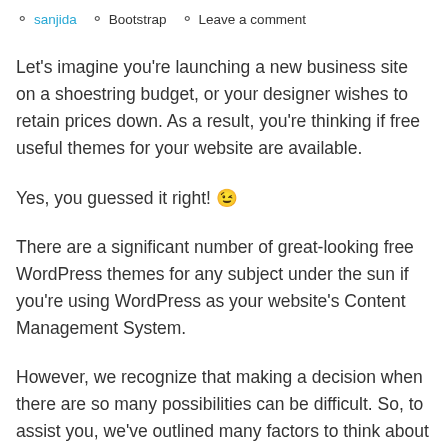sanjida  Bootstrap  Leave a comment
Let's imagine you're launching a new business site on a shoestring budget, or your designer wishes to retain prices down. As a result, you're thinking if free useful themes for your website are available.
Yes, you guessed it right! 😊
There are a significant number of great-looking free WordPress themes for any subject under the sun if you're using WordPress as your website's Content Management System.
However, we recognize that making a decision when there are so many possibilities can be difficult. So, to assist you, we've outlined many factors to think about while selecting a free